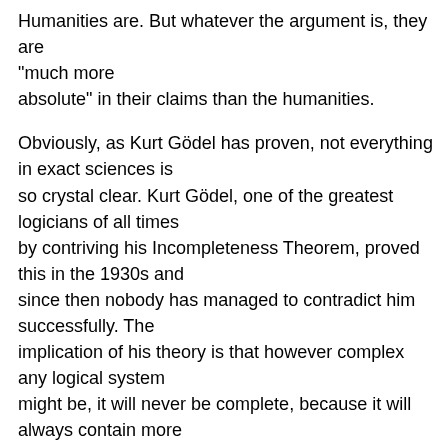Humanities are. But whatever the argument is, they are "much more absolute" in their claims than the humanities.
Obviously, as Kurt Gödel has proven, not everything in exact sciences is so crystal clear. Kurt Gödel, one of the greatest logicians of all times by contriving his Incompleteness Theorem, proved this in the 1930s and since then nobody has managed to contradict him successfully. The implication of his theory is that however complex any logical system might be, it will never be complete, because it will always contain more true statements than it could possibly prove using its own defining set of rules.
Therefore the character of the respective theories has a slightly